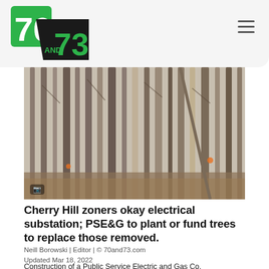70and73.com
[Figure (photo): Dense forest of tall bare trees with thin trunks, leafless branches, and dead grass on ground in winter/early spring.]
Cherry Hill zoners okay electrical substation; PSE&G to plant or fund trees to replace those removed.
Neill Borowski | Editor | © 70and73.com
Updated Mar 18, 2022
Construction of a Public Service Electric and Gas Co.